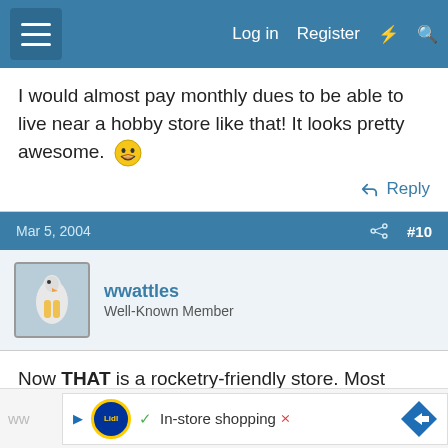Log in  Register
I would almost pay monthly dues to be able to live near a hobby store like that! It looks pretty awesome. 😁
↩ Reply
Mar 5, 2004  #10
wwattles
Well-Known Member
Now THAT is a rocketry-friendly store. Most hobby stores around here have lots of RC cars and planes for sale, and only a couple have any rockets at all. And the only places I can find anything other than Estes and Quest is the local vendor who comes out to our launches.
[Figure (screenshot): Advertisement banner for Lidl with text 'In-store shopping']